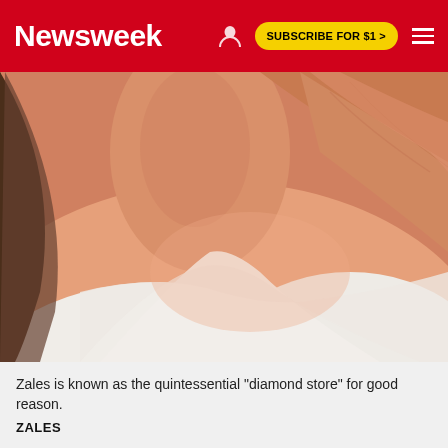Newsweek  SUBSCRIBE FOR $1 >
[Figure (photo): Close-up of a woman's neck, shoulder, and arm in a white outfit, warm skin tones, hair visible on the left side.]
Zales is known as the quintessential "diamond store" for good reason.
ZALES